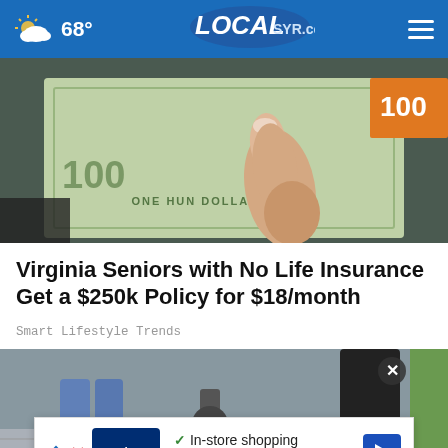68° LOCAL SYR.com
[Figure (photo): Close-up of a hand with manicured nails holding a $100 US dollar bill]
Virginia Seniors with No Life Insurance Get a $250k Policy for $18/month
Smart Lifestyle Trends
[Figure (photo): Street scene showing people with tools, partial outdoor scene]
[Figure (other): Advertisement banner: Petco – In-store shopping, Curbside pickup]